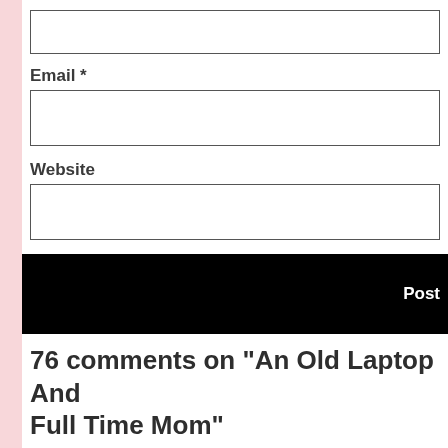[Figure (other): Form input box (top, partially visible)]
Email *
[Figure (other): Email input text field]
Website
[Figure (other): Website input text field]
[Figure (other): Black Post Comment button bar with 'Post' text on right]
76 comments on “An Old Laptop And Full Time Mom”
[Figure (other): Comment card with gray avatar circle, partially visible at bottom]